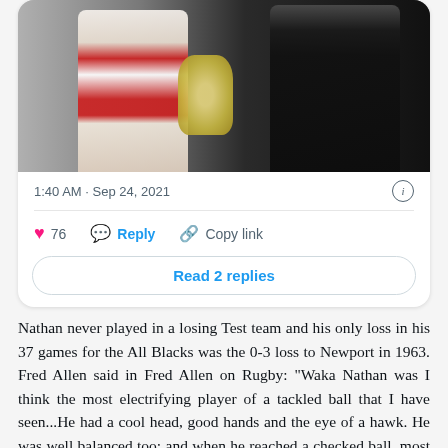[Figure (photo): Two men holding a trophy together. The man on the left wears a red and white Canterbury rugby jersey, the man on the right wears a dark suit jacket with a badge/emblem.]
1:40 AM · Sep 24, 2021
76   Reply   Copy link
Read 2 replies
Nathan never played in a losing Test team and his only loss in his 37 games for the All Blacks was the 0-3 loss to Newport in 1963. Fred Allen said in Fred Allen on Rugby: "Waka Nathan was I think the most electrifying player of a tackled ball that I have seen...He had a cool head, good hands and the eye of a hawk. He was well balanced too; and when he reached a checked ball, most often at